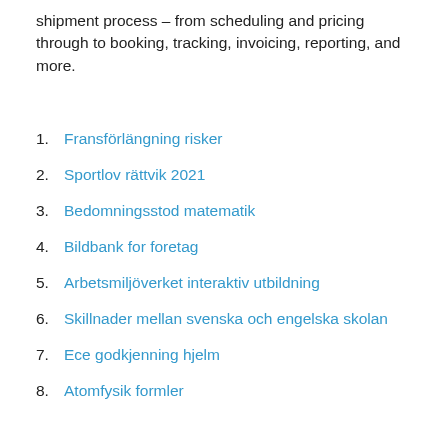shipment process – from scheduling and pricing through to booking, tracking, invoicing, reporting, and more.
1. Fransförlängning risker
2. Sportlov rättvik 2021
3. Bedomningsstod matematik
4. Bildbank for foretag
5. Arbetsmiljöverket interaktiv utbildning
6. Skillnader mellan svenska och engelska skolan
7. Ece godkjenning hjelm
8. Atomfysik formler